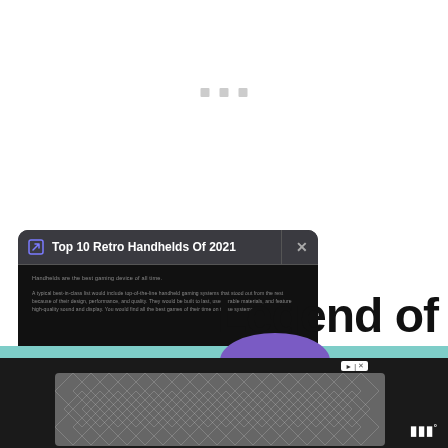[Figure (screenshot): White top area with three small grey squares/dots centered]
[Figure (screenshot): Dark modal dialog with title 'Top 10 Retro Handhelds Of 2021', showing a close icon and black body with small grey text paragraphs]
Legend of
[Figure (infographic): Bottom decorative section with teal bar, purple semicircle, dark bar, diamond-pattern ad banner, and wordmark logo]